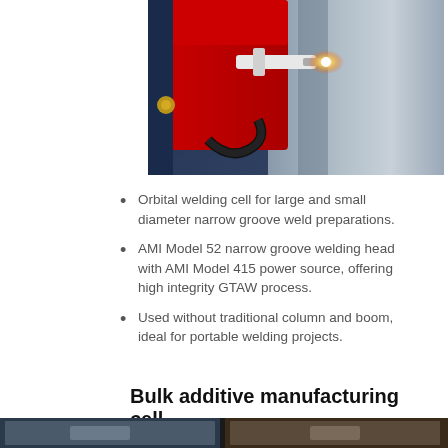[Figure (photo): Close-up of an orbital welding head with a bright welding arc against a metal surface, featuring red equipment and blue/silver metallic tones.]
Orbital welding cell for large and small diameter narrow groove weld preparations.
AMI Model 52 narrow groove welding head with AMI Model 415 power source, offering high integrity GTAW process.
Used without traditional column and boom, ideal for portable welding projects.
Bulk additive manufacturing cell
[Figure (photo): Bottom strip showing partial images of manufacturing/welding equipment.]